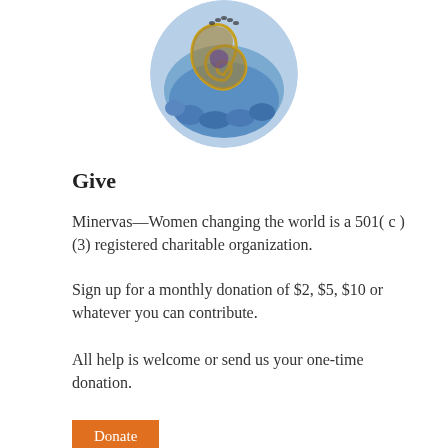[Figure (illustration): Circular logo image with a decorative spiral shell/nautilus design in blue, gold, and purple tones on a white background.]
Give
Minervas—Women changing the world is a 501( c )(3) registered charitable organization.
Sign up for a monthly donation of $2, $5, $10 or whatever you can contribute.
All help is welcome or send us your one-time donation.
Donate